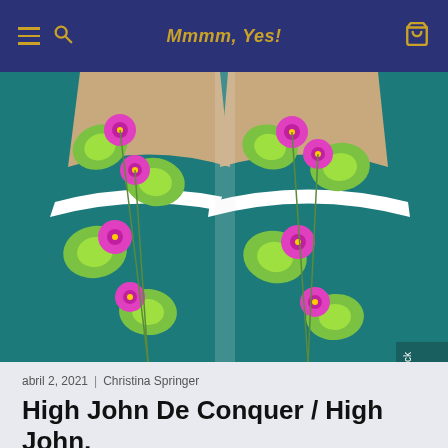Mmmm, Yes!
[Figure (photo): Top-down view of two espadrille-style shoes with a floral pattern featuring pink flowers and green lily pads on a teal background]
abril 2, 2021 | Christina Springer
High John De Conquer / High John, Hey!